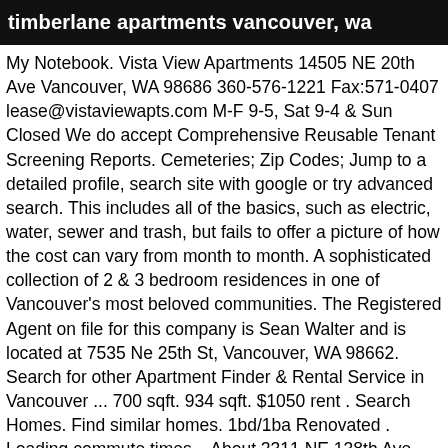timberlane apartments vancouver, wa
My Notebook. Vista View Apartments 14505 NE 20th Ave Vancouver, WA 98686 360-576-1221 Fax:571-0407 lease@vistaviewapts.com M-F 9-5, Sat 9-4 & Sun Closed We do accept Comprehensive Reusable Tenant Screening Reports. Cemeteries; Zip Codes; Jump to a detailed profile, search site with google or try advanced search. This includes all of the basics, such as electric, water, sewer and trash, but fails to offer a picture of how the cost can vary from month to month. A sophisticated collection of 2 & 3 bedroom residences in one of Vancouver's most beloved communities. The Registered Agent on file for this company is Sean Walter and is located at 7535 Ne 25th St, Vancouver, WA 98662. Search for other Apartment Finder & Rental Service in Vancouver ... 700 sqft. 934 sqft. $1050 rent . Search Homes. Find similar homes. 1bd/1ba Renovated . Loading commute times... About 2311 NE 138th Ave. See the estimate, review home details, and search for homes nearby. For instance, Numbeo.com estimates utilities for two-bedroom apartments in